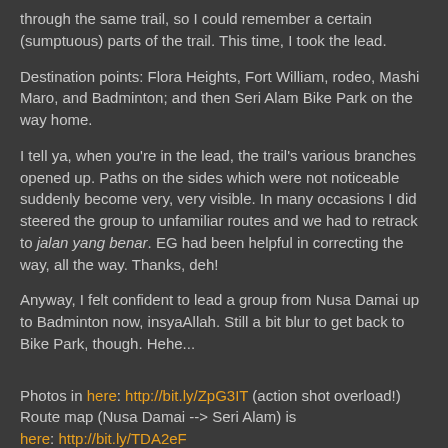through the same trail, so I could remember a certain (sumptuous) parts of the trail. This time, I took the lead.
Destination points: Flora Heights, Fort William, rodeo, Mashi Maro, and Badminton; and then Seri Alam Bike Park on the way home.
I tell ya, when you're in the lead, the trail's various branches opened up. Paths on the sides which were not noticeable suddenly become very, very visible. In many occasions I did steered the group to unfamiliar routes and we had to retrack to jalan yang benar. EG had been helpful in correcting the way, all the way. Thanks, deh!
Anyway, I felt confident to lead a group from Nusa Damai up to Badminton now, insyaAllah. Still a bit blur to get back to Bike Park, though. Hehe...
Photos in here: http://bit.ly/ZpG3IT (action shot overload!) Route map (Nusa Damai --> Seri Alam) is here: http://bit.ly/TDA2eF